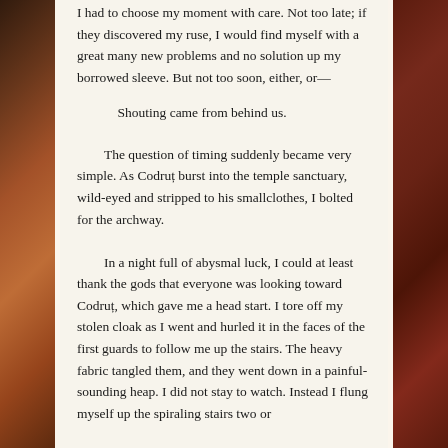I had to choose my moment with care. Not too late; if they discovered my ruse, I would find myself with a great many new problems and no solution up my borrowed sleeve. But not too soon, either, or—
Shouting came from behind us.
The question of timing suddenly became very simple. As Codruț burst into the temple sanctuary, wild-eyed and stripped to his smallclothes, I bolted for the archway.
In a night full of abysmal luck, I could at least thank the gods that everyone was looking toward Codruț, which gave me a head start. I tore off my stolen cloak as I went and hurled it in the faces of the first guards to follow me up the stairs. The heavy fabric tangled them, and they went down in a painful-sounding heap. I did not stay to watch. Instead I flung myself up the spiraling stairs two or